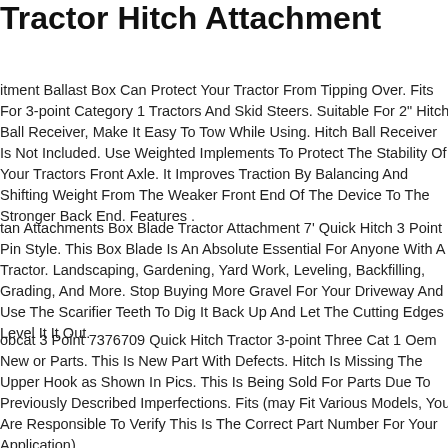Tractor Hitch Attachment
itment Ballast Box Can Protect Your Tractor From Tipping Over. Fits For 3-point Category 1 Tractors And Skid Steers. Suitable For 2" Hitch Ball Receiver, Make It Easy To Tow While Using. Hitch Ball Receiver Is Not Included. Use Weighted Implements To Protect The Stability Of Your Tractors Front Axle. It Improves Traction By Balancing And Shifting Weight From The Weaker Front End Of The Device To The Stronger Back End. Features .
tan Attachments Box Blade Tractor Attachment 7' Quick Hitch 3 Point Pin Style. This Box Blade Is An Absolute Essential For Anyone With A Tractor. Landscaping, Gardening, Yard Work, Leveling, Backfilling, Grading, And More. Stop Buying More Gravel For Your Driveway And Use The Scarifier Teeth To Dig It Back Up And Let The Cutting Edges Level It It Out.
obcat 3 Point 7376709 Quick Hitch Tractor 3-point Three Cat 1 Oem New or Parts. This Is New Part With Defects. Hitch Is Missing The Upper Hook as Shown In Pics. This Is Being Sold For Parts Due To Previously Described Imperfections. Fits (may Fit Various Models, You Are Responsible To Verify This Is The Correct Part Number For Your Application).